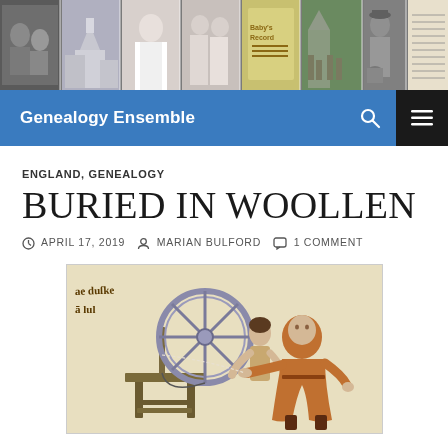[Figure (photo): Website header photo strip showing collage of genealogy-related historical photos: children, church, wedding, baby record book, churchyard, man with dog, handwritten document]
Genealogy Ensemble
ENGLAND, GENEALOGY
BURIED IN WOOLLEN
APRIL 17, 2019  MARIAN BULFORD  1 COMMENT
[Figure (illustration): Medieval manuscript illustration showing two figures using a spinning wheel]